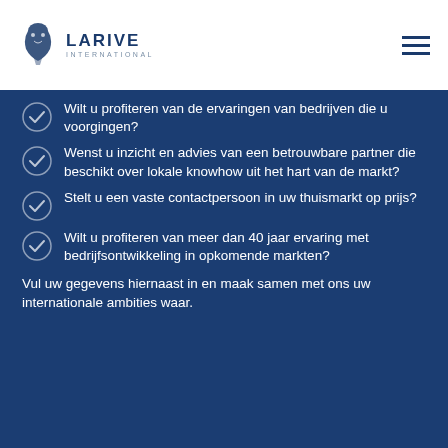[Figure (logo): Larive International logo with lion emblem and company name]
Wilt u profiteren van de ervaringen van bedrijven die u voorgingen?
Wenst u inzicht en advies van een betrouwbare partner die beschikt over lokale knowhow uit het hart van de markt?
Stelt u een vaste contactpersoon in uw thuismarkt op prijs?
Wilt u profiteren van meer dan 40 jaar ervaring met bedrijfsontwikkeling in opkomende markten?
Vul uw gegevens hiernaast in en maak samen met ons uw internationale ambities waar.